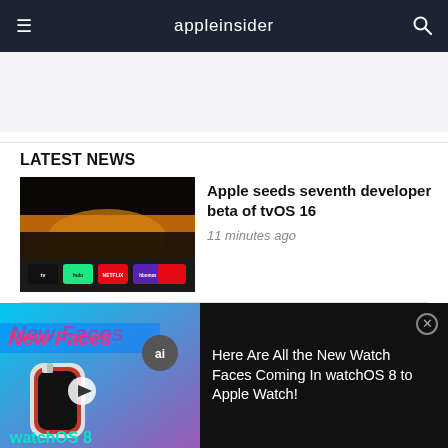appleinsider
[Figure (other): Gray advertisement placeholder banner]
LATEST NEWS
[Figure (screenshot): Apple TV interface showing streaming service icons: Apple TV, Hulu, Netflix, HBO Max, and Apple TV+ with a sunset background]
Apple seeds seventh developer beta of tvOS 16
11 minutes ago
[Figure (screenshot): Apple Watch showing time 3:31 and 3:36 on watch face]
Apple introduces seventh
[Figure (other): Video ad overlay: New Watch Faces in watchOS 8 with Apple Watch and colorful background. Title: Here Are All the New Watch Faces Coming In watchOS 8 to Apple Watch!]